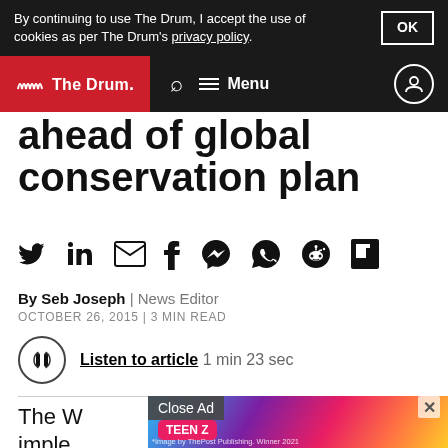By continuing to use The Drum, I accept the use of cookies as per The Drum's privacy policy. OK
The Drum — Search Menu
ahead of global conservation plan
[Figure (other): Social sharing icons row: Twitter, LinkedIn, Email, Facebook, Messenger, WhatsApp, Reddit, Flipboard]
By Seb Joseph | News Editor
OCTOBER 26, 2015 | 3 MIN READ
Listen to article  1 min 23 sec
The W... has imple... it
[Figure (other): Advertisement overlay showing Teen Z branded ad with colorful background, Close Ad button]